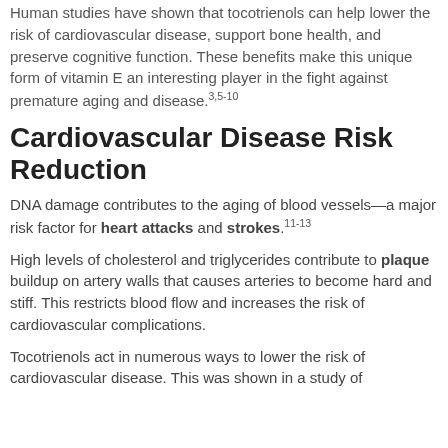Human studies have shown that tocotrienols can help lower the risk of cardiovascular disease, support bone health, and preserve cognitive function. These benefits make this unique form of vitamin E an interesting player in the fight against premature aging and disease.3,5-10
Cardiovascular Disease Risk Reduction
DNA damage contributes to the aging of blood vessels—a major risk factor for heart attacks and strokes.11-13
High levels of cholesterol and triglycerides contribute to plaque buildup on artery walls that causes arteries to become hard and stiff. This restricts blood flow and increases the risk of cardiovascular complications.
Tocotrienols act in numerous ways to lower the risk of cardiovascular disease. This was shown in a study of